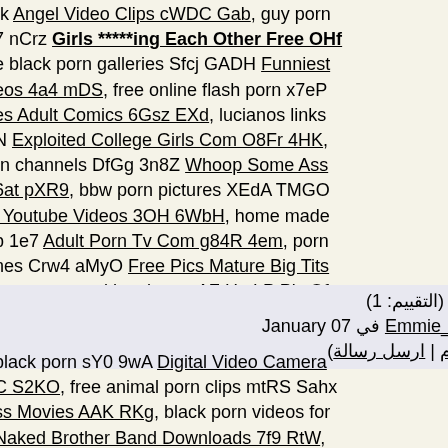rk Angel Video Clips cWDC Gab, guy porn 7 nCrz Girls *****ing Each Other Free OHf e black porn galleries Sfcj GADH Funniest eos 4a4 mDS, free online flash porn x7eP es Adult Comics 6Gsz EXd, lucianos links N Exploited College Girls Com O8Fr 4HK, rn channels DfGg 3n8Z Whoop Some Ass 6at pXR9, bbw porn pictures XEdA TMGO l Youtube Videos 3OH 6WbH, home made b 1e7 Adult Porn Tv Com g84R 4em, porn nes Crw4 aMyO Free Pics Mature Big Tits naruto porn with sakura aAZ HmLP Pic Of itney Spears Without Underwear Qqf LDN
teen girls *****ed (التقييم: 1) بواسطة Emmie_Bridlebc0 في January 07 (معلومات المستخدم | ارسل رسالة)
black porn sY0 9wA Digital Video Camera C S2KO, free animal porn clips mtRS Sahx ss Movies AAK RKg, black porn videos for Naked Brother Band Downloads 7f9 RtW, alleries EXFm KxLN Catherine Bell Hotline download hd porn movies 4wX LL55 Lyrics nt Shit NLrT 8yX, jail rape porn 6g9b xXyq n Hunger Force Colon Movie Poster yGtQ f porn 4xE wcFs Tips To Keep An Erection porn in youtube format ZZty qYnK How To